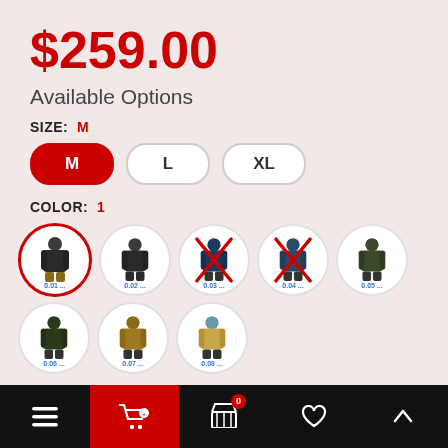$259.00
Available Options
SIZE: M
M (selected), L, XL
COLOR: 1
[Figure (screenshot): Color swatches row 1: 5 circular thumbnails of jacket colors (01 selected with red ring, 02, 03 crossed out, 04 crossed out, 05). Row 2: 3 circular thumbnails (06, 07, 08).]
QTY
Navigation bar: menu, cart (with add-to-cart button), basket (0), heart, up arrow